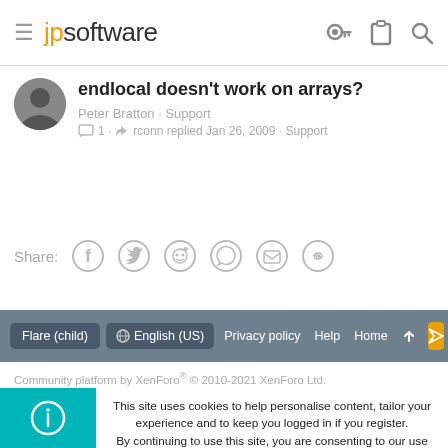jpsoftware
endlocal doesn't work on arrays?
Peter Bratton · Support
1 · rconn replied Jan 26, 2009 · Support
Share:
Flare (child)   English (US)   Privacy policy   Help   Home
Community platform by XenForo® © 2010-2021 XenForo Ltd.
This site uses cookies to help personalise content, tailor your experience and to keep you logged in if you register.
By continuing to use this site, you are consenting to our use of cookies.
Accept   Learn more...